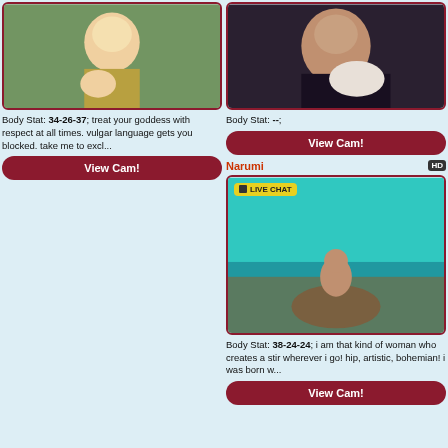[Figure (photo): Blonde woman outdoors crouching]
Body Stat: 34-26-37; treat your goddess with respect at all times. vulgar language gets you blocked. take me to excl...
View Cam!
[Figure (photo): Dark-haired tattooed woman with pillow]
Body Stat: --;
View Cam!
Narumi
[Figure (photo): Woman sitting on rock at seaside with LIVE CHAT badge]
Body Stat: 38-24-24; i am that kind of woman who creates a stir wherever i go! hip, artistic, bohemian! i was born w...
View Cam!